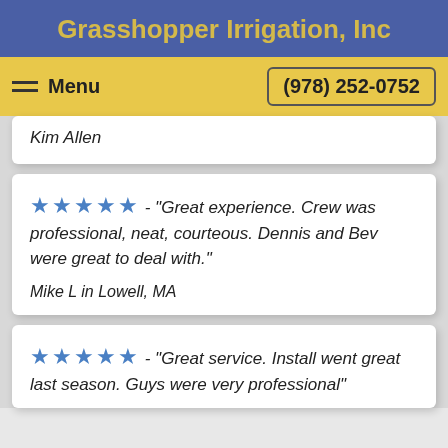Grasshopper Irrigation, Inc
Menu   (978) 252-0752
Kim Allen
★★★★★ - "Great experience. Crew was professional, neat, courteous. Dennis and Bev were great to deal with."
Mike L in Lowell, MA
★★★★★ - "Great service. Install went great last season. Guys were very professional"